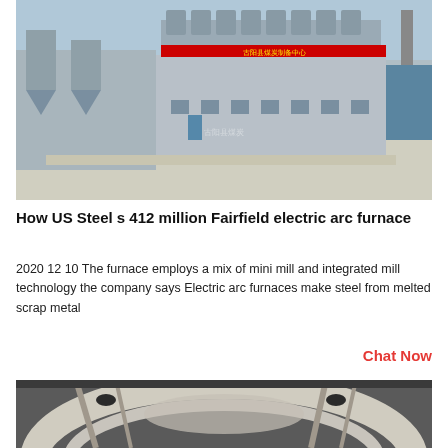[Figure (photo): Aerial view of a large industrial facility with a multi-story building, dust collection equipment, silos, chimneys, and open yard area. Chinese text on red signage atop the building.]
How US Steel s 412 million Fairfield electric arc furnace
2020 12 10 The furnace employs a mix of mini mill and integrated mill technology the company says Electric arc furnaces make steel from melted scrap metal
Chat Now
[Figure (photo): Close-up interior view of a large industrial electric arc furnace showing curved steel/metal components and structural elements inside an industrial building.]